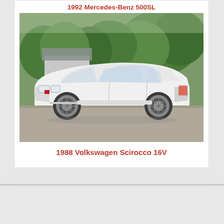1992 Mercedes-Benz 500SL
[Figure (photo): White 1988 Volkswagen Scirocco 16V parked on a gravel driveway in front of a house with trees in the background. The car has aftermarket wheels and a low, sporty stance.]
1988 Volkswagen Scirocco 16V